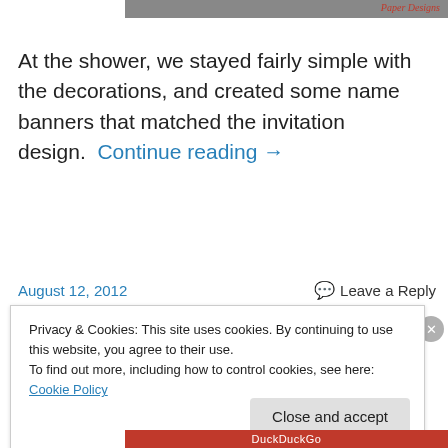[Figure (screenshot): Partial screenshot of a gray header image bar at the top]
Paper Designs
At the shower, we stayed fairly simple with the decorations, and created some name banners that matched the invitation design. Continue reading →
August 12, 2012
💬 Leave a Reply
Privacy & Cookies: This site uses cookies. By continuing to use this website, you agree to their use.
To find out more, including how to control cookies, see here: Cookie Policy
Close and accept
[Figure (screenshot): Partial bottom orange/red bar with DuckDuckGo text]